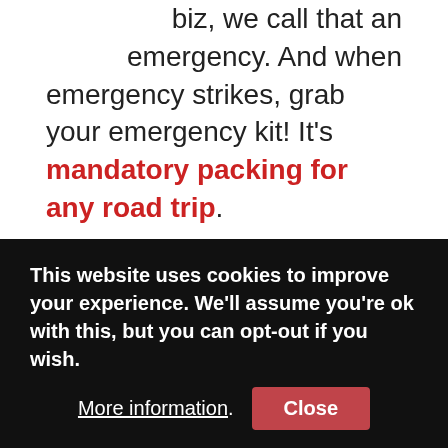biz, we call that an emergency. And when emergency strikes, grab your emergency kit! It's mandatory packing for any road trip.
What actually comes in your emergency roadside kit tends to vary from kit to kit. Often, it's just some of the other RV gear you'll find on this packing list, extra equipment ready for a breakdown, and a space blanket along a couple of granola bars or something. Trust me – the last thing you want to have happen in a pinch is to go hungry.
This website uses cookies to improve your experience. We'll assume you're ok with this, but you can opt-out if you wish. More information. Close